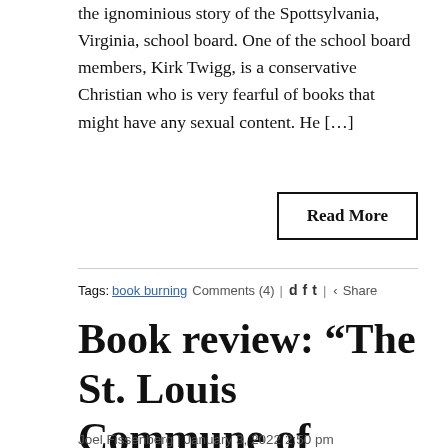the ignominious story of the Spottsylvania, Virginia, school board. One of the school board members, Kirk Twigg, is a conservative Christian who is very fearful of books that might have any sexual content. He […]
Read More
Tags: book burning Comments (4) | Share
Book review: “The St. Louis Commune of 1877”
Joel Fissenberg | January 3, 2022 2:50 pm